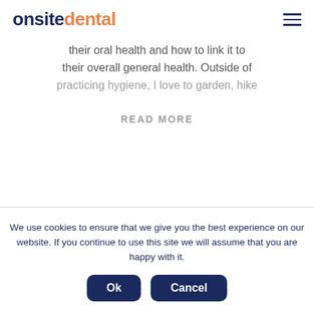onsite dental
their oral health and how to link it to their overall general health. Outside of practicing hygiene, I love to garden, hike
READ MORE
We use cookies to ensure that we give you the best experience on our website. If you continue to use this site we will assume that you are happy with it.
Ok  Cancel